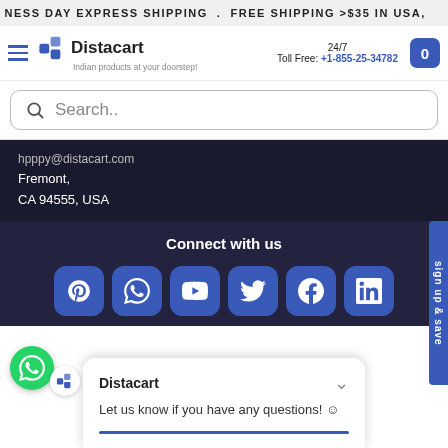NESS DAY EXPRESS SHIPPING . FREE SHIPPING >$35 IN USA,
[Figure (logo): Distacart logo with hamburger menu, phone number 24/7 Toll Free: +1-855-25-34782 and cart button]
Search..
Fremont,
CA 94555, USA
Connect with us
[Figure (infographic): Six social media icons: Pinterest, WhatsApp, YouTube, Twitter, Facebook, LinkedIn]
Distacart
Let us know if you have any questions! 😊